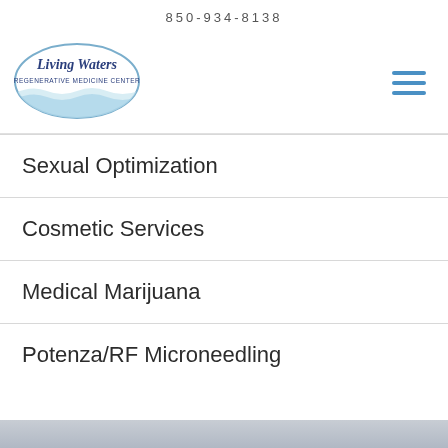850-934-8138
[Figure (logo): Living Waters Regenerative Medicine Center oval logo with water wave graphic]
Sexual Optimization
Cosmetic Services
Medical Marijuana
Potenza/RF Microneedling